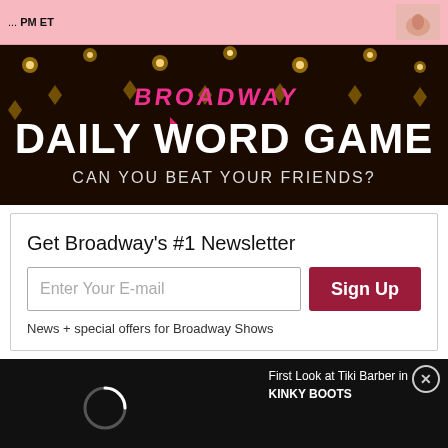... PM ET
[Figure (photo): Thumbnail image of hands, pinkish tone]
[Figure (illustration): Broadway Daily Word Game banner — dark background with bokeh lights, pink 'BROADWAY' text on top, large white 'DAILY WORD GAME' title, subtitle 'CAN YOU BEAT YOUR FRIENDS?']
Get Broadway's #1 Newsletter
Enter Your E-mail
Sign Up
News + special offers for Broadway Shows
First Look at Tiki Barber in KINKY BOOTS
[Figure (screenshot): Video player loading screen (dark/black) with spinning loader arc on the left and text overlay on the right showing 'First Look at Tiki Barber in KINKY BOOTS']